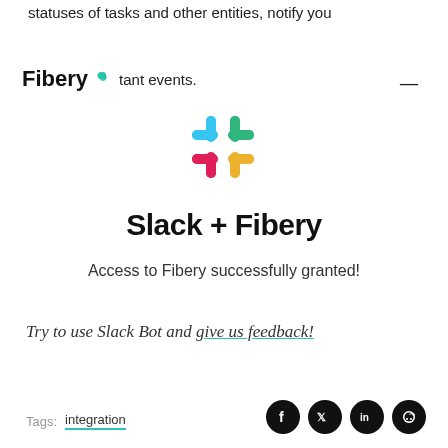statuses of tasks and other entities, notify you
Fibery [leaf icon] tant events.
[Figure (logo): Slack logo — four rounded rectangles arranged in a hashtag/plus pattern: teal top-left, yellow top-right, red bottom-left, blue bottom-right, with rounded pill ends.]
Slack + Fibery
Access to Fibery successfully granted!
Try to use Slack Bot and give us feedback!
Tags:  integration
[Figure (other): Social media icon circles: Facebook, Twitter, LinkedIn, Reddit]